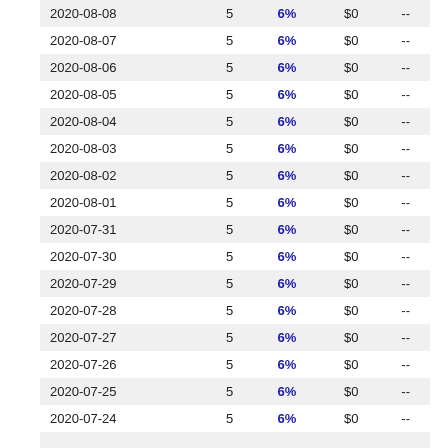| Date |  | Rate | Amount |  |
| --- | --- | --- | --- | --- |
| 2020-08-08 | 5 | 6% | $0 | -- |
| 2020-08-07 | 5 | 6% | $0 | -- |
| 2020-08-06 | 5 | 6% | $0 | -- |
| 2020-08-05 | 5 | 6% | $0 | -- |
| 2020-08-04 | 5 | 6% | $0 | -- |
| 2020-08-03 | 5 | 6% | $0 | -- |
| 2020-08-02 | 5 | 6% | $0 | -- |
| 2020-08-01 | 5 | 6% | $0 | -- |
| 2020-07-31 | 5 | 6% | $0 | -- |
| 2020-07-30 | 5 | 6% | $0 | -- |
| 2020-07-29 | 5 | 6% | $0 | -- |
| 2020-07-28 | 5 | 6% | $0 | -- |
| 2020-07-27 | 5 | 6% | $0 | -- |
| 2020-07-26 | 5 | 6% | $0 | -- |
| 2020-07-25 | 5 | 6% | $0 | -- |
| 2020-07-24 | 5 | 6% | $0 | -- |